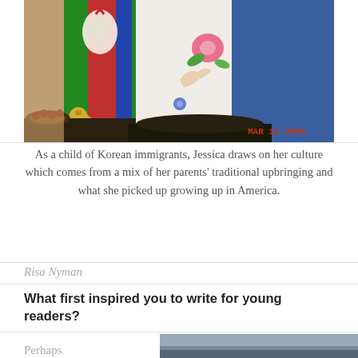[Figure (photo): A photo of a person in traditional Korean colorful embroidered garments holding decorated fabric, with food offerings visible in the foreground and a timestamp reading MAR 12 2005 in red at the bottom right.]
As a child of Korean immigrants, Jessica draws on her culture which comes from a mix of her parents' traditional upbringing and what she picked up growing up in America.
Risa Nyman
What first inspired you to write for young readers?
Perhaps
[Figure (photo): Partial photo visible at the bottom right of the page, appears to be an outdoor scenic image.]